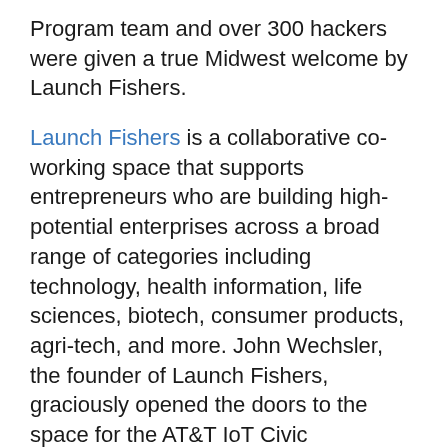Program team and over 300 hackers were given a true Midwest welcome by Launch Fishers.
Launch Fishers is a collaborative co-working space that supports entrepreneurs who are building high-potential enterprises across a broad range of categories including technology, health information, life sciences, biotech, consumer products, agri-tech, and more. John Wechsler, the founder of Launch Fishers, graciously opened the doors to the space for the AT&T IoT Civic Hackathon as the venue sponsor.
On Friday, Jan Korycan, AT&T Principal Product Development Engineer, led an invite-only M2X session. The session featured a surprise guest speaker: Chris Penrose, AT&T Senior Vice President, Internet of Things Solutions. The session helped attendees get up and running quickly on M2X before the hackathon so they could start thinking about how to use M2X in their projects over the weekend.